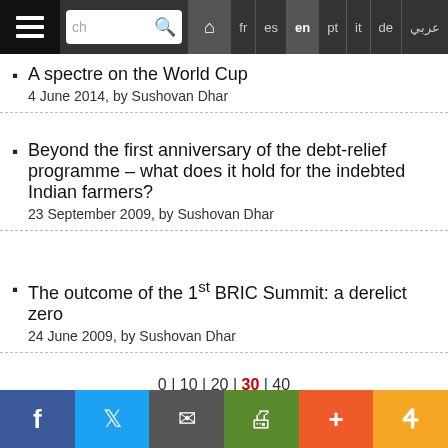Navigation bar with search and language options: fr es en pt it de عربي
A spectre on the World Cup
4 June 2014, by Sushovan Dhar
Beyond the first anniversary of the debt-relief programme – what does it hold for the indebted Indian farmers?
23 September 2009, by Sushovan Dhar
The outcome of the 1st BRIC Summit: a derelict zero
24 June 2009, by Sushovan Dhar
0 | 10 | 20 | 30 | 40
Author  Nathan Legrand CADTM Belgium
Social share buttons: Facebook, Twitter, Email, Print, +, Pushbullet